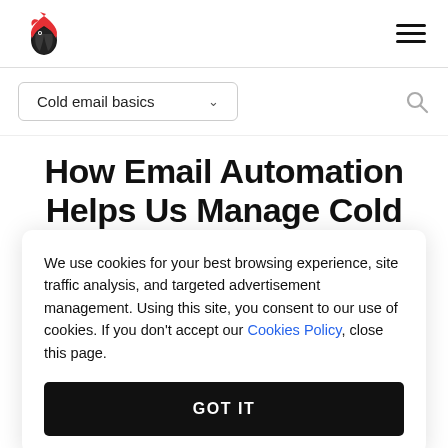Navigation header with logo and hamburger menu
Cold email basics
How Email Automation Helps Us Manage Cold
We use cookies for your best browsing experience, site traffic analysis, and targeted advertisement management. Using this site, you consent to our use of cookies. If you don't accept our Cookies Policy, close this page.
GOT IT